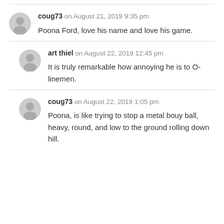coug73 on August 21, 2019 9:35 pm
Poona Ford, love his name and love his game.
art thiel on August 22, 2019 12:45 pm
It is truly remarkable how annoying he is to O-linemen.
coug73 on August 22, 2019 1:05 pm
Poona, is like trying to stop a metal bouy ball, heavy, round, and low to the ground rolling down hill.